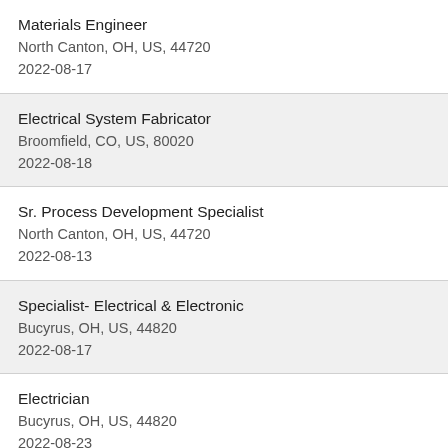Materials Engineer
North Canton, OH, US, 44720
2022-08-17
Electrical System Fabricator
Broomfield, CO, US, 80020
2022-08-18
Sr. Process Development Specialist
North Canton, OH, US, 44720
2022-08-13
Specialist- Electrical & Electronic
Bucyrus, OH, US, 44820
2022-08-17
Electrician
Bucyrus, OH, US, 44820
2022-08-23
Automation Specialist...